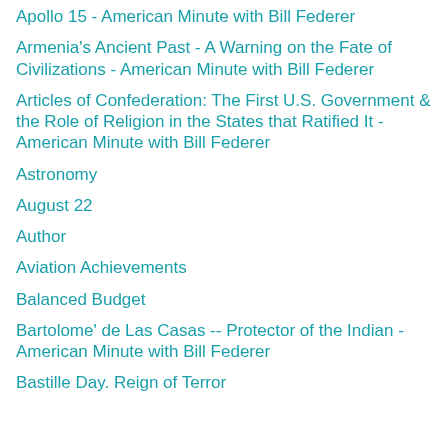Apollo 15 - American Minute with Bill Federer
Armenia's Ancient Past - A Warning on the Fate of Civilizations - American Minute with Bill Federer
Articles of Confederation: The First U.S. Government & the Role of Religion in the States that Ratified It - American Minute with Bill Federer
Astronomy
August 22
Author
Aviation Achievements
Balanced Budget
Bartolome' de Las Casas -- Protector of the Indian - American Minute with Bill Federer
Bastille Day. Reign of Terror